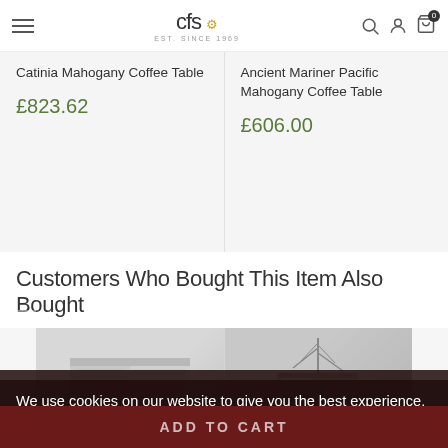CFS furniture store header with logo, search, account, and cart icons
Catinia Mahogany Coffee Table
£823.62
Ancient Mariner Pacific Mahogany Coffee Table
£606.00
Customers Who Bought This Item Also Bought
[Figure (photo): Product carousel showing two furniture items: a white TV unit and a mirrored TV unit with champagne finish]
buchbrook White 2 Drawer Corner TV Unit
Antoinette Mirrored TV Unit with Champagne Mirror
We use cookies on our website to give you the best experience. By continuing to use our site, you agree to our use of cookies.
Read More about our cookie policy here.
OK
ADD TO CART